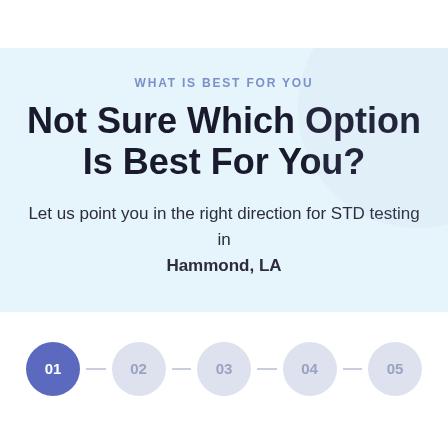WHAT IS BEST FOR YOU
Not Sure Which Option Is Best For You?
Let us point you in the right direction for STD testing in Hammond, LA
[Figure (infographic): Step progress indicator with 5 numbered circles (01 active/filled dark purple, 02–05 light grey), connected by a horizontal line. Step 01 is highlighted.]